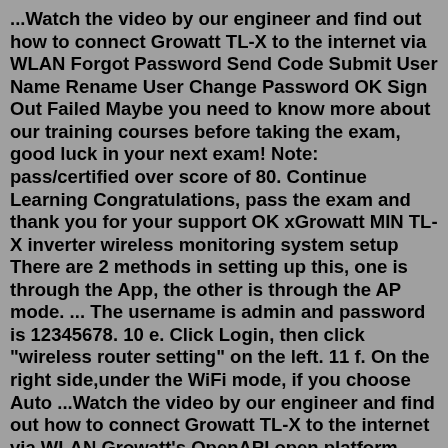...Watch the video by our engineer and find out how to connect Growatt TL-X to the internet via WLAN Forgot Password Send Code Submit User Name Rename User Change Password OK Sign Out Failed Maybe you need to know more about our training courses before taking the exam, good luck in your next exam! Note: pass/certified over score of 80. Continue Learning Congratulations, pass the exam and thank you for your support OK xGrowatt MIN TL-X inverter wireless monitoring system setup There are 2 methods in setting up this, one is through the App, the other is through the AP mode. ... The username is admin and password is 12345678. 10 e. Click Login, then click "wireless router setting" on the left. 11 f. On the right side,under the WiFi mode, if you choose Auto ...Watch the video by our engineer and find out how to connect Growatt TL-X to the internet via WLAN Growatt's OpenAPI open platform provides standardized RESTful data invocation ... name or password is empty, 10003: User